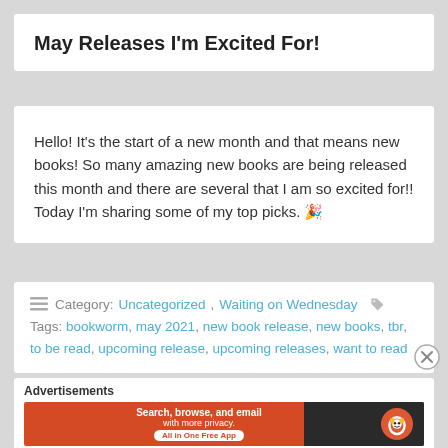May Releases I'm Excited For!
Hello! It's the start of a new month and that means new books! So many amazing new books are being released this month and there are several that I am so excited for!! Today I'm sharing some of my top picks. 🎉
Category: Uncategorized, Waiting on Wednesday
Tags: bookworm, may 2021, new book release, new books, tbr, to be read, upcoming release, upcoming releases, want to read
Advertisements
[Figure (screenshot): DuckDuckGo advertisement banner: Search, browse, and email with more privacy. All in One Free App.]